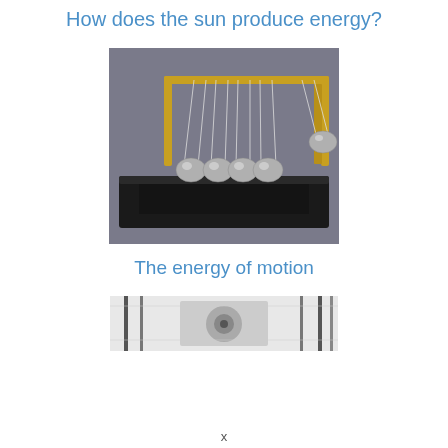How does the sun produce energy?
[Figure (photo): Newton's cradle with five silver metallic balls suspended by white strings from a gold-colored frame, resting on a black base, photographed against a gray background.]
The energy of motion
[Figure (photo): Partial view of what appears to be a glass or crystal pendulum or wave device, cropped, showing vertical rods and a suspended element against a light background.]
x